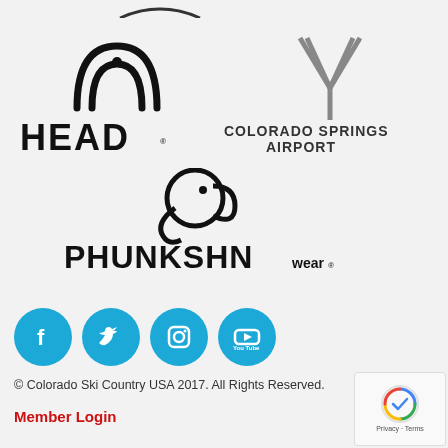[Figure (logo): Partial logo at top of page (cropped)]
[Figure (logo): HEAD sports brand logo — arc/arc symbol above bold HEAD text]
[Figure (logo): Colorado Springs Airport logo — Y-shaped symbol above text COLORADO SPRINGS AIRPORT]
[Figure (logo): Phunkshn Wear logo — stylized elephant icon above bold PHUNKSHN wear text]
[Figure (logo): Social media icons row: Facebook, Twitter, Instagram, YouTube — all circular blue]
© Colorado Ski Country USA 2017. All Rights Reserved.
Member Login
[Figure (other): Google reCAPTCHA badge with Privacy and Terms links]